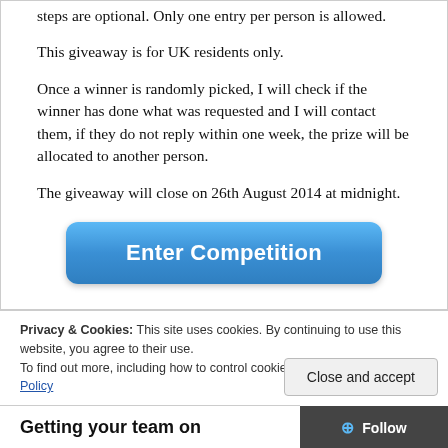steps are optional. Only one entry per person is allowed.
This giveaway is for UK residents only.
Once a winner is randomly picked, I will check if the winner has done what was requested and I will contact them, if they do not reply within one week, the prize will be allocated to another person.
The giveaway will close on 26th August 2014 at midnight.
[Figure (other): Blue rounded button labeled 'Enter Competition']
Privacy & Cookies: This site uses cookies. By continuing to use this website, you agree to their use.
To find out more, including how to control cookies, see here: Cookie Policy
Close and accept
Getting your team on